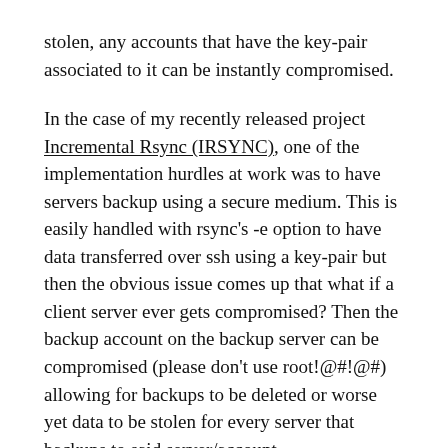stolen, any accounts that have the key-pair associated to it can be instantly compromised.
In the case of my recently released project Incremental Rsync (IRSYNC), one of the implementation hurdles at work was to have servers backup using a secure medium. This is easily handled with rsync's -e option to have data transferred over ssh using a key-pair but then the obvious issue comes up that what if a client server ever gets compromised? Then the backup account on the backup server can be compromised (please don't use root!@#!@#) allowing for backups to be deleted or worse yet data to be stolen for every server that backups to said server/account.
A solution to this is to limit the commands that can be executed over SSH by a specific public key, though this is not a perfect way to mitigate the threat it does go a long